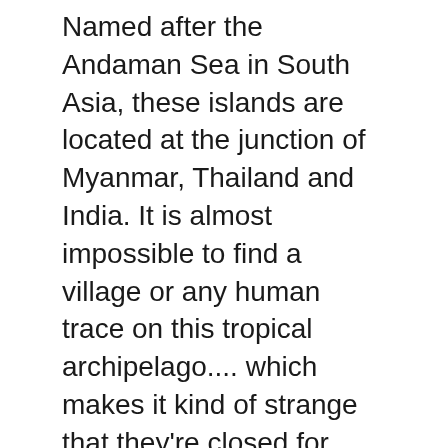Named after the Andaman Sea in South Asia, these islands are located at the junction of Myanmar, Thailand and India. It is almost impossible to find a village or any human trace on this tropical archipelago.... which makes it kind of strange that they're closed for tourists- unless you consider tribal people living off Pokémon cards like tourist attraction. The Maldives
In comparison to many other remote island communities around the world, The Maldives has over 400,000 citizens, with more than 100 inhabited islands and hundreds of islets.
Last year the Maldives passed a law that would require 50 percent of its upcountry population to move within five years or risk losing their citizenship. Now it's likely some island people will be forced underwater in order to make way for yet another